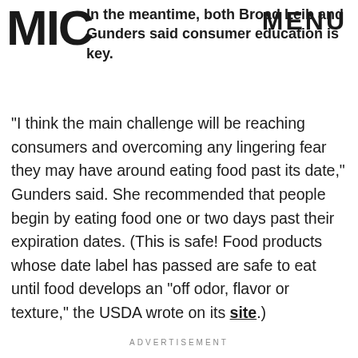MIC MENU
In the meantime, both Broad Leib and Gunders said consumer education is key.
"I think the main challenge will be reaching consumers and overcoming any lingering fear they may have around eating food past its date," Gunders said. She recommended that people begin by eating food one or two days past their expiration dates. (This is safe! Food products whose date label has passed are safe to eat until food develops an "off odor, flavor or texture," the USDA wrote on its site.)
ADVERTISEMENT